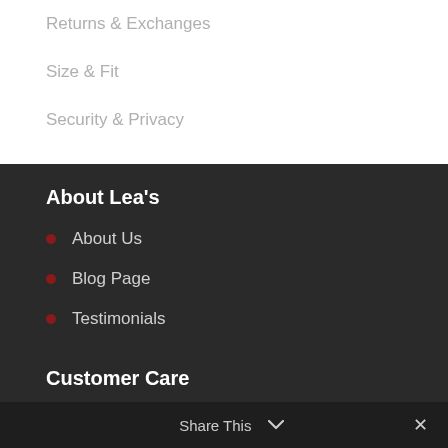Returns & Exchanges
Size & Fit
Security & Privacy
About Lea's
About Us
Blog Page
Testimonials
Customer Care
FAQs
Share This  ✕